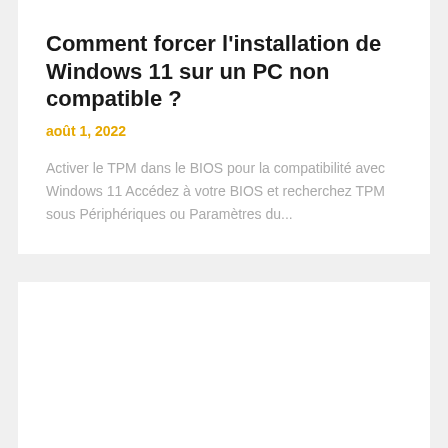Comment forcer l'installation de Windows 11 sur un PC non compatible ?
août 1, 2022
Activer le TPM dans le BIOS pour la compatibilité avec Windows 11 Accédez à votre BIOS et recherchez TPM sous Périphériques ou Paramètres du...